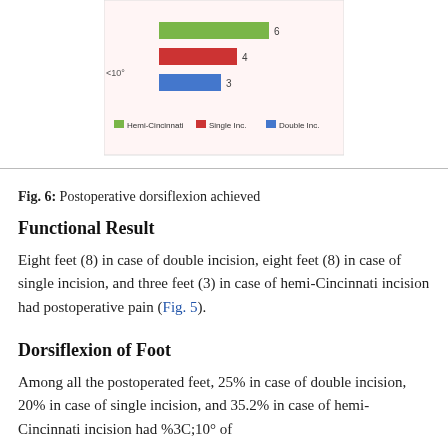[Figure (bar-chart): Postoperative dorsiflexion achieved (partial, top of chart visible)]
Fig. 6: Postoperative dorsiflexion achieved
Functional Result
Eight feet (8) in case of double incision, eight feet (8) in case of single incision, and three feet (3) in case of hemi-Cincinnati incision had postoperative pain (Fig. 5).
Dorsiflexion of Foot
Among all the postoperated feet, 25% in case of double incision, 20% in case of single incision, and 35.2% in case of hemi-Cincinnati incision had %3C;10° of